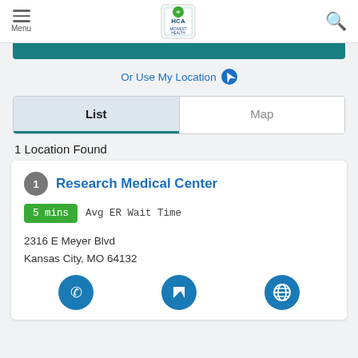Menu | HCA Midwest Health | Search
[Figure (screenshot): Teal button bar at top of search results]
Or Use My Location
[Figure (other): List/Map tab switcher with List tab active]
1 Location Found
Research Medical Center
5 mins Avg ER Wait Time
2316 E Meyer Blvd
Kansas City, MO 64132
[Figure (other): Three teal circle icons: phone, directions, website]